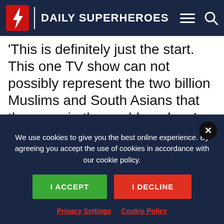Daily Superheroes
This is definitely just the start. This one TV show can not possibly represent the two billion Muslims and South Asians that there are in the world, and so I hope that the show opens doors for more South Asian voices in the industry and inspires them to tell their stories." Describing her role on this show as 'such an important job' she continues:
We use cookies to give you the best online experience. By agreeing you accept the use of cookies in accordance with our cookie policy.
I ACCEPT
I DECLINE
Privacy Settings  Cookie Policy